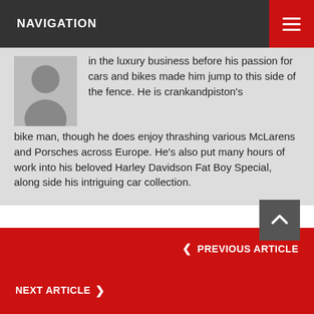NAVIGATION
in the luxury business before his passion for cars and bikes made him jump to this side of the fence. He is crankandpiston's bike man, though he does enjoy thrashing various McLarens and Porsches across Europe. He's also put many hours of work into his beloved Harley Davidson Fat Boy Special, along side his intriguing car collection.
‹ PREVIOUS ARTICLE
Shot of the Day. Autumn's Coming
NEXT ARTICLE ›